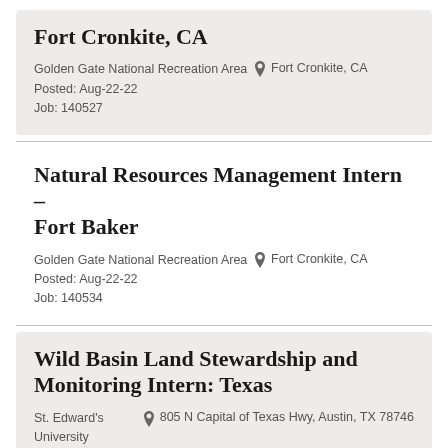Fort Cronkite, CA
Golden Gate National Recreation Area   Fort Cronkite, CA
Posted: Aug-22-22
Job: 140527
Natural Resources Management Intern – Fort Baker
Golden Gate National Recreation Area   Fort Cronkite, CA
Posted: Aug-22-22
Job: 140534
Wild Basin Land Stewardship and Monitoring Intern: Texas
St. Edward's University   805 N Capital of Texas Hwy, Austin, TX 78746
Posted: Aug-22-22
Job: 140502
Wildlife Care Intern: Orange Beach, Al